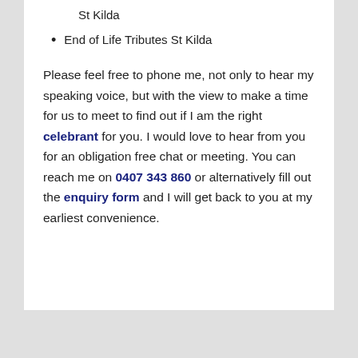St Kilda
End of Life Tributes St Kilda
Please feel free to phone me, not only to hear my speaking voice, but with the view to make a time for us to meet to find out if I am the right celebrant for you. I would love to hear from you for an obligation free chat or meeting. You can reach me on 0407 343 860 or alternatively fill out the enquiry form and I will get back to you at my earliest convenience.